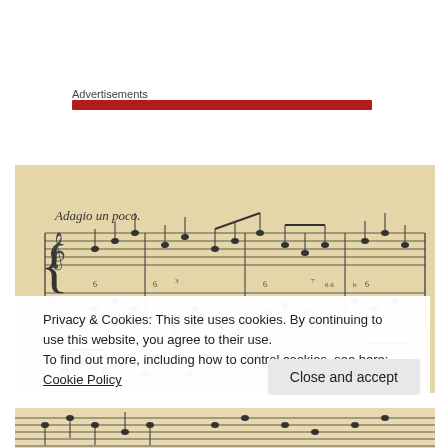Advertisements
[Figure (illustration): Red horizontal bar below Advertisements label]
[Figure (photo): Handwritten baroque sheet music manuscript on aged paper, marked 'Adagio un poco' at the top left, showing two staves with musical notation]
Privacy & Cookies: This site uses cookies. By continuing to use this website, you agree to their use.
To find out more, including how to control cookies, see here: Cookie Policy
Close and accept
[Figure (photo): Bottom strip of handwritten baroque sheet music manuscript on aged paper]